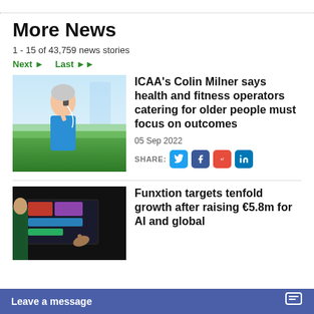More News
1 - 15 of 43,759 news stories
Next ▶  Last ▶▶
[Figure (photo): Older woman with grey hair wearing blue top, talking on phone outdoors near water and greenery]
ICAA's Colin Milner says health and fitness operators catering for older people must focus on outcomes
05 Sep 2022
SHARE: [Twitter] [Facebook] [Reddit] [LinkedIn]
[Figure (photo): Woman in dark room touching a screen/display showing colorful video content]
Funxtion targets tenfold growth after raising €5.8m for AI and global development
Leave a message